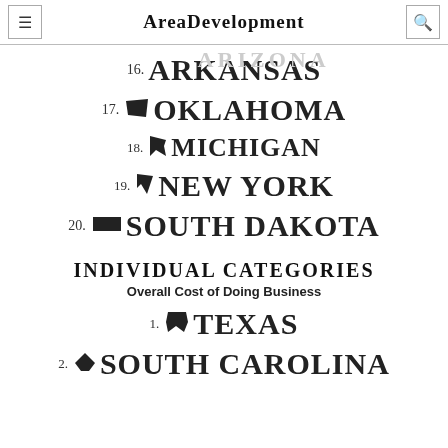AreaDevelopment
16. ARKANSAS
17. OKLAHOMA
18. MICHIGAN
19. NEW YORK
20. SOUTH DAKOTA
INDIVIDUAL CATEGORIES
Overall Cost of Doing Business
1. TEXAS
2. SOUTH CAROLINA